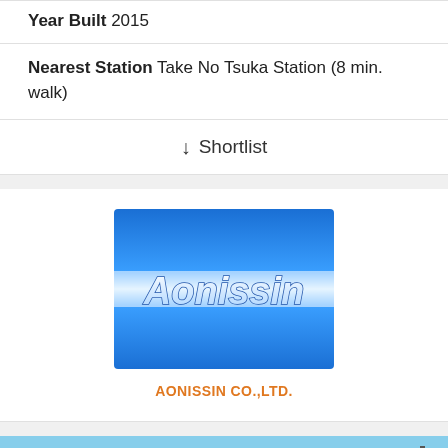Year Built 2015
Nearest Station Take No Tsuka Station (8 min. walk)
↓ Shortlist
[Figure (logo): Aonissin company logo — blue gradient background with white text 'Aonissin']
AONISSIN CO.,LTD.
[Figure (photo): Exterior photo of a modern multi-storey residential apartment building with beige/cream walls and blue accents, under a clear blue sky]